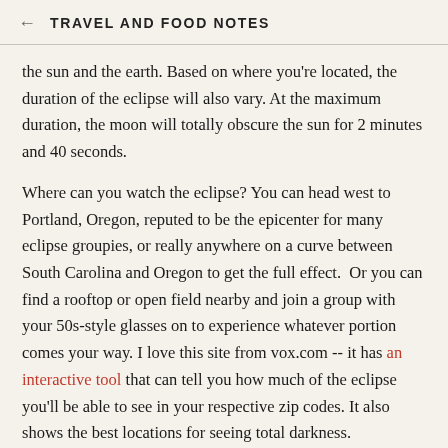← TRAVEL AND FOOD NOTES
the sun and the earth. Based on where you're located, the duration of the eclipse will also vary. At the maximum duration, the moon will totally obscure the sun for 2 minutes and 40 seconds.
Where can you watch the eclipse? You can head west to Portland, Oregon, reputed to be the epicenter for many eclipse groupies, or really anywhere on a curve between South Carolina and Oregon to get the full effect.  Or you can find a rooftop or open field nearby and join a group with your 50s-style glasses on to experience whatever portion comes your way. I love this site from vox.com -- it has an interactive tool that can tell you how much of the eclipse you'll be able to see in your respective zip codes. It also shows the best locations for seeing total darkness.